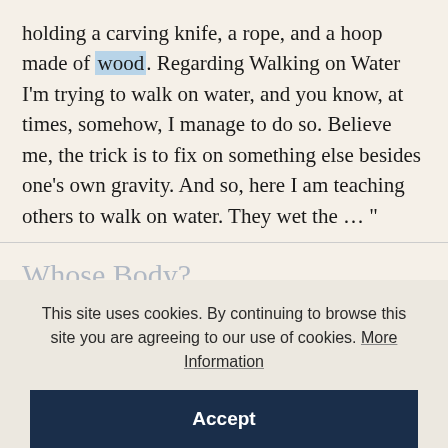holding a carving knife, a rope, and a hoop made of wood. Regarding Walking on Water I'm trying to walk on water, and you know, at times, somehow, I manage to do so. Believe me, the trick is to fix on something else besides one's own gravity. And so, here I am teaching others to walk on water. They wet the …”
Whose Body?
Charles Glass: 'Operation Mincemeat', 22
This site uses cookies. By continuing to browse this site you are agreeing to our use of cookies. More Information
Accept